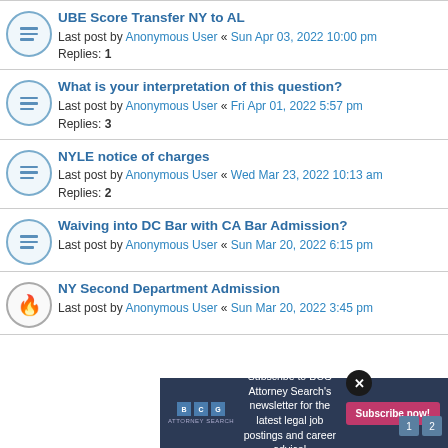UBE Score Transfer NY to AL
Last post by Anonymous User « Sun Apr 03, 2022 10:00 pm
Replies: 1
What is your interpretation of this question?
Last post by Anonymous User « Fri Apr 01, 2022 5:57 pm
Replies: 3
NYLE notice of charges
Last post by Anonymous User « Wed Mar 23, 2022 10:13 am
Replies: 2
Waiving into DC Bar with CA Bar Admission?
Last post by Anonymous User « Sun Mar 20, 2022 6:15 pm
NY Second Department Admission
Last post by Anonymous User « Sun Mar 20, 2022 3:45 pm
Subscribe to BCG Attorney Search's newsletter for the latest legal job postings and career advice!